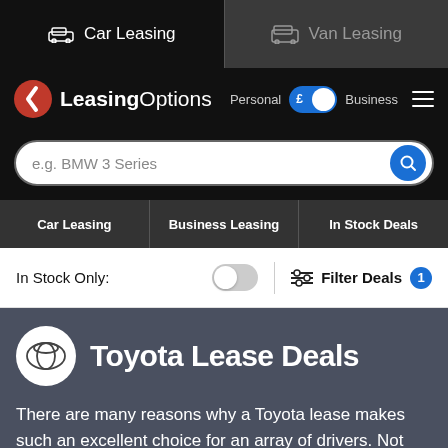Car Leasing | Van Leasing
[Figure (logo): LeasingOptions logo with red lightning bolt icon]
Personal £ Business
e.g. BMW 3 Series
Car Leasing | Business Leasing | In Stock Deals
In Stock Only:
Filter Deals 1
Toyota Lease Deals
There are many reasons why a Toyota lease makes such an excellent choice for an array of drivers. Not only do they offer style, quality and economy, they're affordable too. So they're great if you're
READ MORE